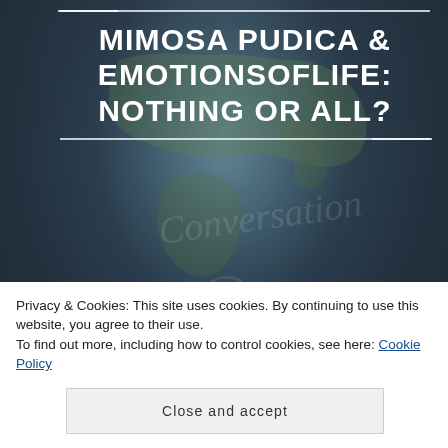MIMOSA PUDICA & EMOTIONSOFLIFE: NOTHING OR ALL?
Indeed, it has been a while, due to our busy schedules and although we connect regularly... writing together, doesn't happen as often as we'd like...
Privacy & Cookies: This site uses cookies. By continuing to use this website, you agree to their use.
To find out more, including how to control cookies, see here: Cookie Policy
Close and accept